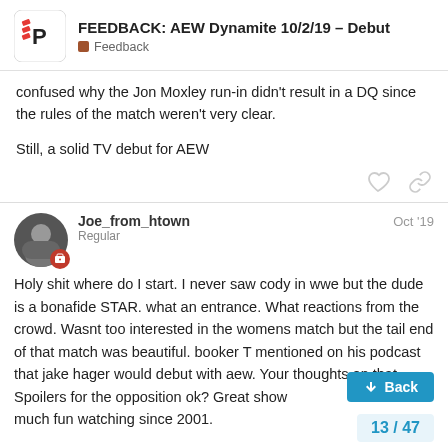FEEDBACK: AEW Dynamite 10/2/19 – Debut | Feedback
confused why the Jon Moxley run-in didn't result in a DQ since the rules of the match weren't very clear.

Still, a solid TV debut for AEW
Joe_from_htown — Regular — Oct '19
Holy shit where do I start. I never saw cody in wwe but the dude is a bonafide STAR. what an entrance. What reactions from the crowd. Wasnt too interested in the womens match but the tail end of that match was beautiful. booker T mentioned on his podcast that jake hager would debut with aew. Your thoughts on that. Spoilers for the opposition ok? Great show. Haven't had this much fun watching since 2001.
13 / 47